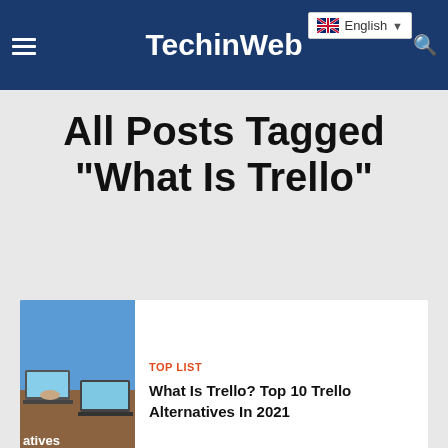TechinWeb
All Posts Tagged "What Is Trello"
[Figure (photo): Thumbnail image showing a desk with laptops and people working, with text 'atives' visible]
TOP LIST
What Is Trello? Top 10 Trello Alternatives In 2021
MORE POSTS